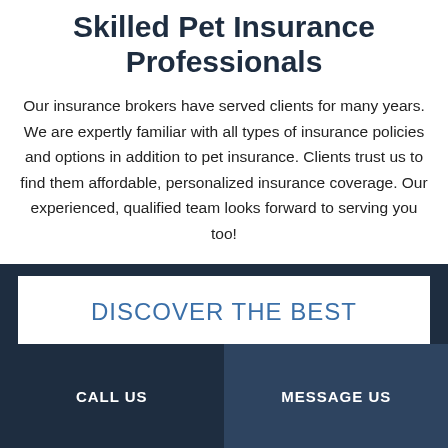Skilled Pet Insurance Professionals
Our insurance brokers have served clients for many years. We are expertly familiar with all types of insurance policies and options in addition to pet insurance. Clients trust us to find them affordable, personalized insurance coverage. Our experienced, qualified team looks forward to serving you too!
DISCOVER THE BEST
CALL US
MESSAGE US